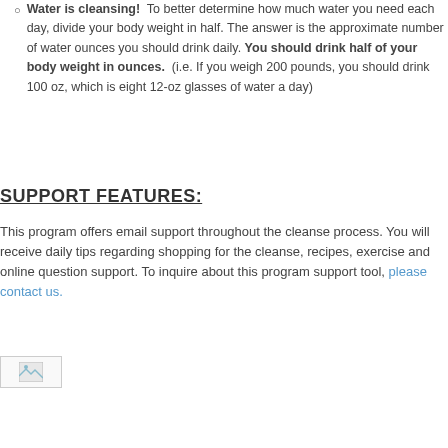Water is cleansing!  To better determine how much water you need each day, divide your body weight in half. The answer is the approximate number of water ounces you should drink daily. You should drink half of your body weight in ounces.  (i.e. If you weigh 200 pounds, you should drink 100 oz, which is eight 12-oz glasses of water a day)
SUPPORT FEATURES:
This program offers email support throughout the cleanse process. You will receive daily tips regarding shopping for the cleanse, recipes, exercise and online question support. To inquire about this program support tool, please contact us.
[Figure (photo): Small image placeholder (broken image icon) at the bottom left of the page]